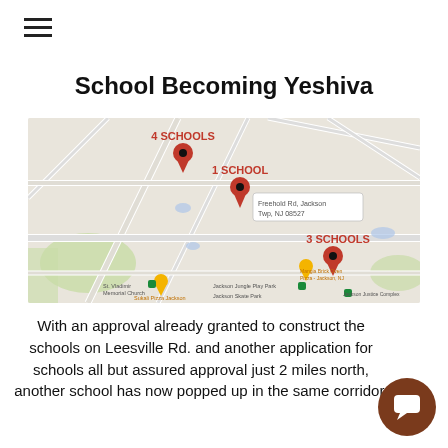≡
School Becoming Yeshiva
[Figure (map): Google Maps screenshot showing Jackson Township, NJ area with three red map pin markers labeled '4 SCHOOLS' (upper area near Leesville Rd), '1 SCHOOL' (center, near Freehold Rd, Jackson Twp, NJ 08527), and '3 SCHOOLS' (lower right, near Mangia Brick Oven Pizza - Jackson, NJ). Also shows landmarks: St. Vladimir Memorial Church, Jackson Jungle Play Park, Jackson Skate Park, Jackson Justice Complex, Sukali Pizza Jackson.]
With an approval already granted to construct the schools on Leesville Rd. and another application for schools all but assured approval just 2 miles north, another school has now popped up in the same corridor.